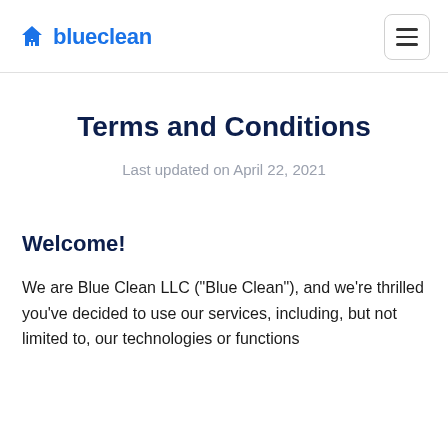blueclean
Terms and Conditions
Last updated on April 22, 2021
Welcome!
We are Blue Clean LLC ("Blue Clean"), and we're thrilled you've decided to use our services, including, but not limited to, our technologies or functions